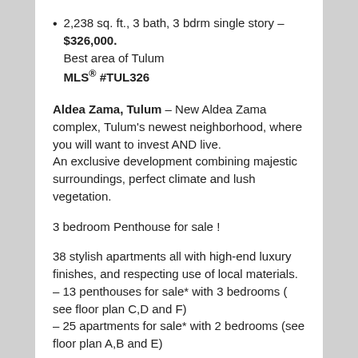2,238 sq. ft., 3 bath, 3 bdrm single story – $326,000.
Best area of Tulum
MLS® #TUL326
Aldea Zama, Tulum – New Aldea Zama complex, Tulum's newest neighborhood, where you will want to invest AND live.
An exclusive development combining majestic surroundings, perfect climate and lush vegetation.
3 bedroom Penthouse for sale !
38 stylish apartments all with high-end luxury finishes, and respecting use of local materials.
– 13 penthouses for sale* with 3 bedrooms ( see floor plan C,D and F)
– 25 apartments for sale* with 2 bedrooms (see floor plan A,B and E)
* many condos and penthouse have sold. Please ask us to see what is available.